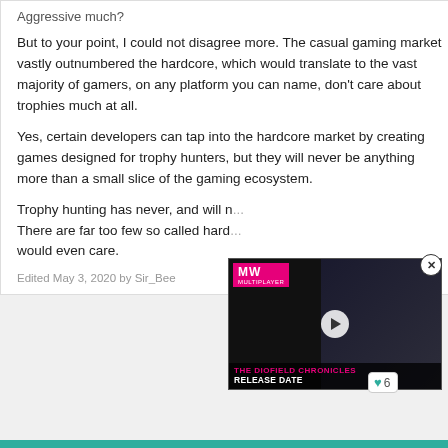Aggressive much?
But to your point, I could not disagree more. The casual gaming market vastly outnumbered the hardcore, which would translate to the vast majority of gamers, on any platform you can name, don't care about trophies much at all.
Yes, certain developers can tap into the hardcore market by creating games designed for trophy hunters, but they will never be anything more than a small slice of the gaming ecosystem.
Trophy hunting has never, and will n... There are far too few so called hard... would even care.
Edited May 3, 2020 by Sir_Bee
[Figure (screenshot): Video ad overlay for The Diofield Chronicles Release Date with MW logo in pink, character image, play button, and title text in pink and white]
[Figure (other): Vote/like box showing a teal heart icon and the number 6]